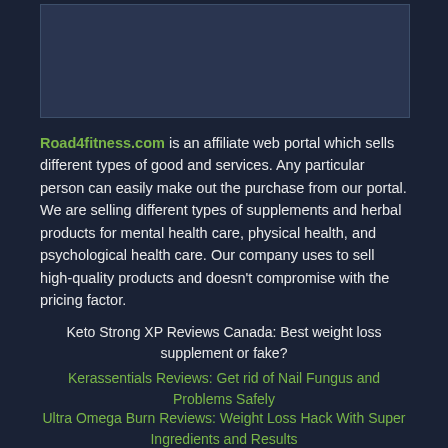[Figure (other): Placeholder image area at top of page]
Road4fitness.com is an affiliate web portal which sells different types of good and services. Any particular person can easily make out the purchase from our portal. We are selling different types of supplements and herbal products for mental health care, physical health, and psychological health care. Our company uses to sell high-quality products and doesn't compromise with the pricing factor.
Keto Strong XP Reviews Canada: Best weight loss supplement or fake?
Kerassentials Reviews: Get rid of Nail Fungus and Problems Safely
Ultra Omega Burn Reviews: Weight Loss Hack With Super Ingredients and Results